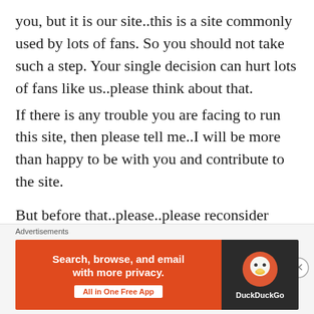you, but it is our site..this is a site commonly used by lots of fans. So you should not take such a step. Your single decision can hurt lots of fans like us..please think about that.
If there is any trouble you are facing to run this site, then please tell me..I will be more than happy to be with you and contribute to the site.
But before that..please..please reconsider
[Figure (screenshot): DuckDuckGo advertisement banner with orange background on the left reading 'Search, browse, and email with more privacy. All in One Free App' and dark background on the right with the DuckDuckGo duck logo and brand name.]